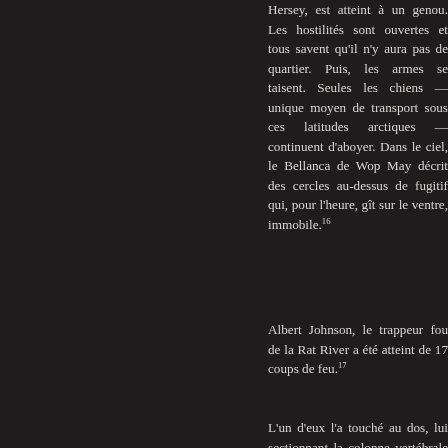Hersey, est atteint à un genou. Les hostilités sont ouvertes et tous savent qu'il n'y aura pas de quartier. Puis, les armes se taisent. Seules les chiens — unique moyen de transport sous ces latitudes arctiques — continuent d'aboyer. Dans le ciel, le Bellanca de Wop May décrit des cercles au-dessus de fugitif qui, pour l'heure, gît sur le ventre, immobile.¹⁶
Albert Johnson, le trappeur fou de la Rat River a été atteint de 17 coups de feu.¹⁷
L'un d'eux l'a touché au dos, lui sectionnant la colonne vertébrale et la moelle épinière.¹⁸ Dans
rumeurs c Mine, il n'a fameuse M pour en quête. Ma tiennent, l qui portan jeunesse - devant le des années la fonte premières l'automne, va explor sauvages lucrative c chaque a revient a quantités murmure vieux p probablem Lost Creek